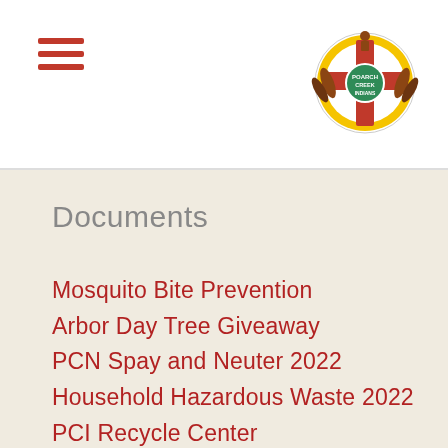[Figure (logo): Poarch Creek Indians tribal logo — circular badge with red cross, yellow ring, figures, and text]
Documents
Mosquito Bite Prevention
Arbor Day Tree Giveaway
PCN Spay and Neuter 2022
Household Hazardous Waste 2022
PCI Recycle Center